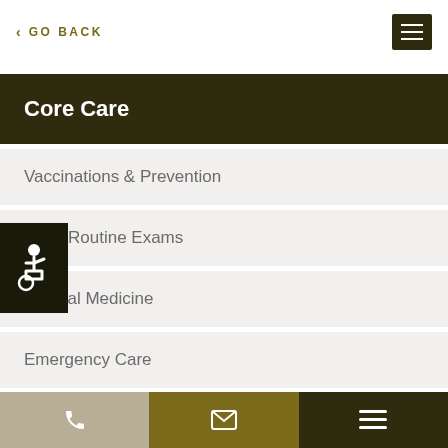< GO BACK
Core Care
Vaccinations & Prevention
Routine Exams
Internal Medicine
Emergency Care
Dental Care
Phone | Email | Menu